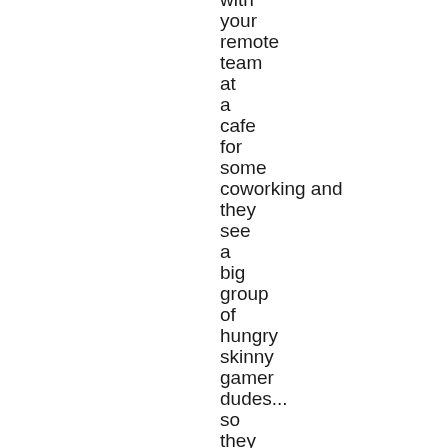with your remote team at a cafe for some coworking and they see a big group of hungry skinny gamer dudes... so they start bringing out MASSIVE PLATTERS OF